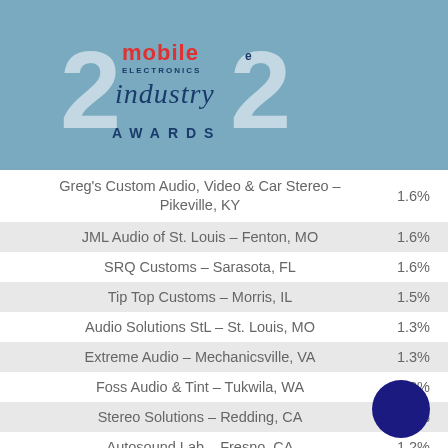[Figure (logo): 2002 Mobile Electronics Industry Awards logo on blue background]
Greg's Custom Audio, Video & Car Stereo – Pikeville, KY — 1.6%
JML Audio of St. Louis – Fenton, MO — 1.6%
SRQ Customs – Sarasota, FL — 1.6%
Tip Top Customs – Morris, IL — 1.5%
Audio Solutions StL – St. Louis, MO — 1.3%
Extreme Audio – Mechanicsville, VA — 1.3%
Foss Audio & Tint – Tukwila, WA — 1.3%
Stereo Solutions – Redding, CA — 1.3%
Autosound Lab – Fresno, CA — 1.2%
Ocala Car Audio – Ocala, FL — 1.2%